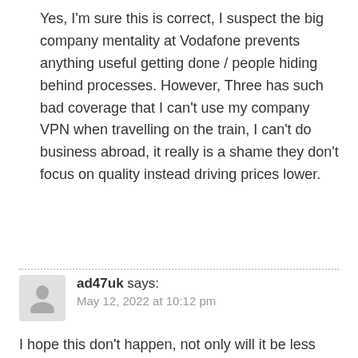Yes, I'm sure this is correct, I suspect the big company mentality at Vodafone prevents anything useful getting done / people hiding behind processes. However, Three has such bad coverage that I can't use my company VPN when travelling on the train, I can't do business abroad, it really is a shame they don't focus on quality instead driving prices lower.
ad47uk says: May 12, 2022 at 10:12 pm
I hope this don't happen, not only will it be less competition, but I am with Smarty which is owned by Three and I vowed never to go with Vodafone again. Useless overpriced, no customer service of a